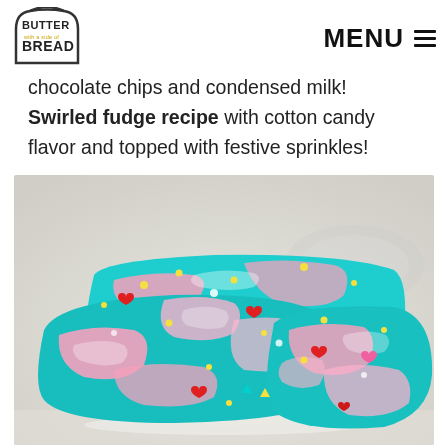[Figure (logo): Butter with a side of Bread logo - bread slice outline with bold text]
chocolate chips and condensed milk! Swirled fudge recipe with cotton candy flavor and topped with festive sprinkles!
[Figure (photo): Close-up photo of swirled pink and teal/turquoise fudge pieces topped with colorful sprinkles including yellow pearls, red and white hearts, and other festive sprinkles]